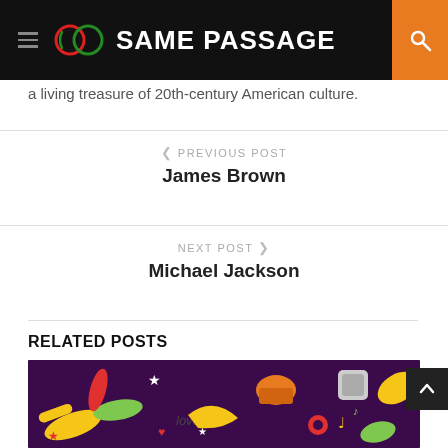SAME PASSAGE
a living treasure of 20th-century American culture.
PREVIOUS POST
James Brown
NEXT POST
Michael Jackson
RELATED POSTS
[Figure (illustration): Colorful music-themed illustration on dark purple background with musical instruments, notes, stars, hearts, and the words 'love' and 'music'.]